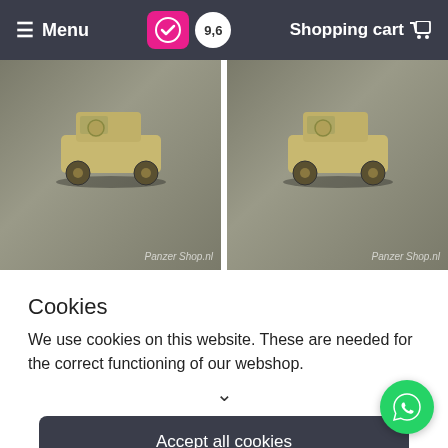≡ Menu   [trust icon] 9,6   Shopping cart 🛒
[Figure (photo): Two side-by-side product photos of a small olive/tan coloured military jeep model on a grey surface, with 'Panzer Shop.nl' watermark]
Cookies
We use cookies on this website. These are needed for the correct functioning of our webshop.
∨
Accept all cookies
Cookie settings